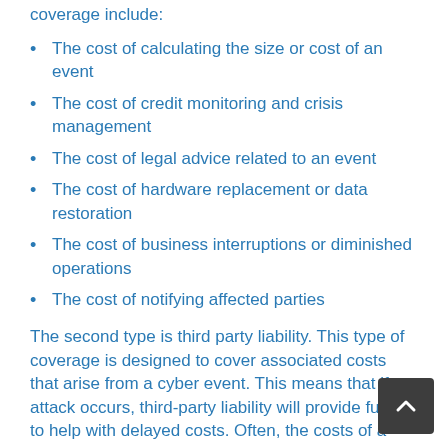coverage include:
The cost of calculating the size or cost of an event
The cost of credit monitoring and crisis management
The cost of legal advice related to an event
The cost of hardware replacement or data restoration
The cost of business interruptions or diminished operations
The cost of notifying affected parties
The second type is third party liability. This type of coverage is designed to cover associated costs that arise from a cyber event. This means that if an attack occurs, third-party liability will provide funds to help with delayed costs. Often, the costs of a cyber attack exceed the first party coverage amounts. Some examples of third-party liability include: